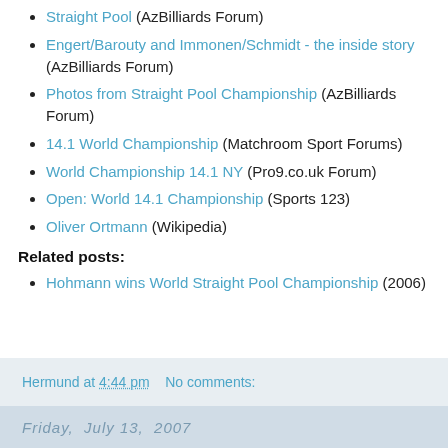Straight Pool (AzBilliards Forum)
Engert/Barouty and Immonen/Schmidt - the inside story (AzBilliards Forum)
Photos from Straight Pool Championship (AzBilliards Forum)
14.1 World Championship (Matchroom Sport Forums)
World Championship 14.1 NY (Pro9.co.uk Forum)
Open: World 14.1 Championship (Sports 123)
Oliver Ortmann (Wikipedia)
Related posts:
Hohmann wins World Straight Pool Championship (2006)
Hermund at 4:44 pm   No comments:
Friday, July 13, 2007